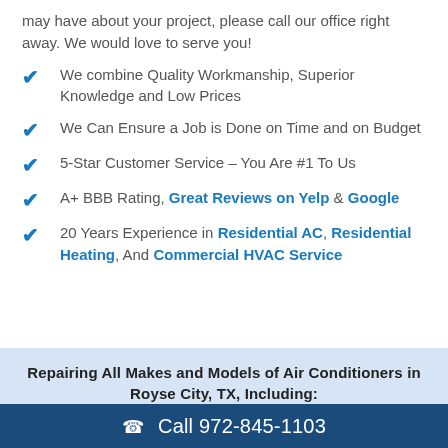may have about your project, please call our office right away. We would love to serve you!
We combine Quality Workmanship, Superior Knowledge and Low Prices
We Can Ensure a Job is Done on Time and on Budget
5-Star Customer Service – You Are #1 To Us
A+ BBB Rating, Great Reviews on Yelp & Google
20 Years Experience in Residential AC, Residential Heating, And Commercial HVAC Service
Repairing All Makes and Models of Air Conditioners in Royse City, TX, Including:
Call 972-845-1103